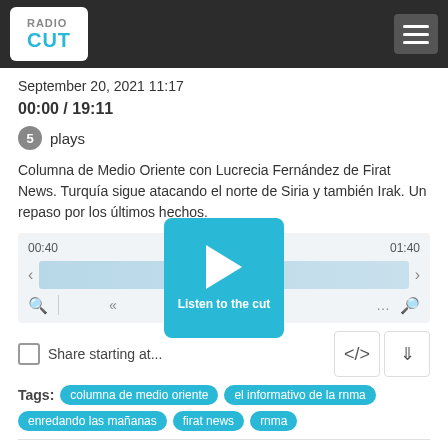RadioCut
September 20, 2021 11:17
00:00 / 19:11
5 plays
Columna de Medio Oriente con Lucrecia Fernández de Firat News. Turquía sigue atacando el norte de Siria y también Irak. Un repaso por los últimos hechos.
[Figure (other): Audio player widget with waveform, time markers 00:40 and 01:40, play button overlay with 'Listen to the cut' label, zoom and rewind controls]
Share starting at...
columna de medio oriente
el informativo de la rnma
enredando las mañanas
firat news
rnma